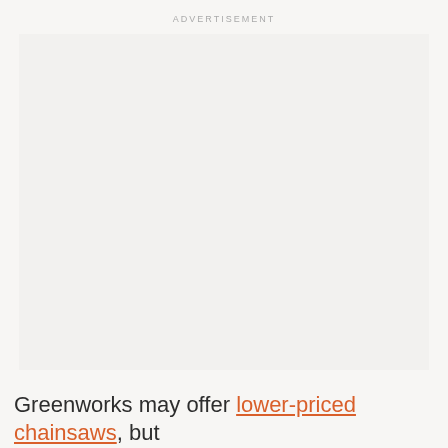ADVERTISEMENT
[Figure (other): Advertisement placeholder area — large light grey/beige empty rectangle]
Greenworks may offer lower-priced chainsaws, but